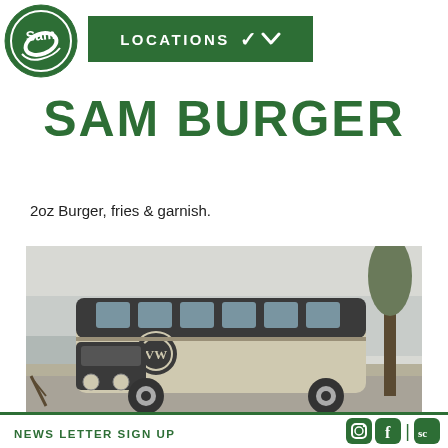[Figure (logo): Sam's logo - circular green badge with leaf design and 'Sam' text]
LOCATIONS ∨
SAM BURGER
2oz Burger, fries & garnish.
[Figure (photo): Vintage VW (Volkswagen) split-screen bus/microbus in cream and dark two-tone, parked by the seaside with a tree in the background]
NEWS LETTER SIGN UP